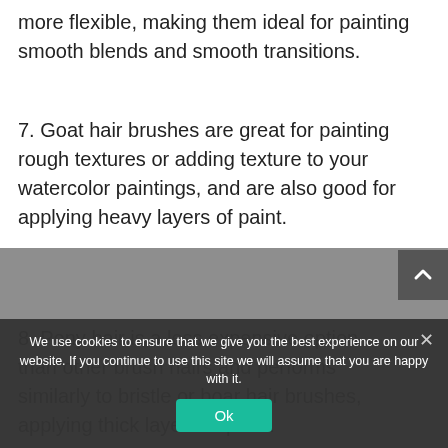more flexible, making them ideal for painting smooth blends and smooth transitions.
7. Goat hair brushes are great for painting rough textures or adding texture to your watercolor paintings, and are also good for applying heavy layers of paint.
8. Pony hair is a less expensive option than other brush hairs and performs similarly to bristle or boar hair brushes, applying thick layers of paint.
We use cookies to ensure that we give you the best experience on our website. If you continue to use this site we will assume that you are happy with it.